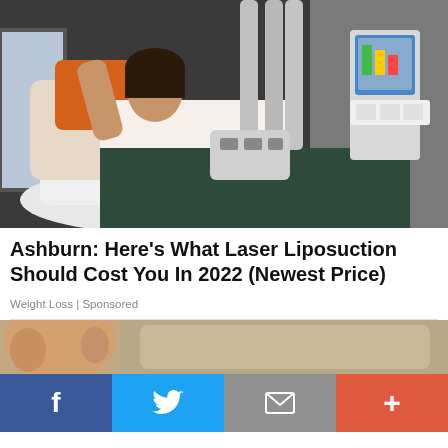[Figure (photo): Woman lying on a treatment chair receiving laser liposuction with equipment applied to her abdomen, medical device with display screen visible in background]
Ashburn: Here's What Laser Liposuction Should Cost You In 2022 (Newest Price)
Weight Loss | Sponsored
[Figure (photo): Partial view of an elderly person's face and ear, sitting in a chair]
[Figure (infographic): Social sharing bar with Facebook, Twitter, Email, and More buttons]